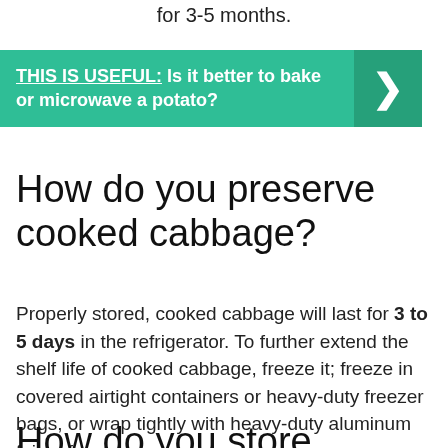for 3-5 months.
THIS IS USEFUL:  Is it better to bake or microwave a potato?
How do you preserve cooked cabbage?
Properly stored, cooked cabbage will last for 3 to 5 days in the refrigerator. To further extend the shelf life of cooked cabbage, freeze it; freeze in covered airtight containers or heavy-duty freezer bags, or wrap tightly with heavy-duty aluminum foil or freezer wrap.
How do you store cabbage